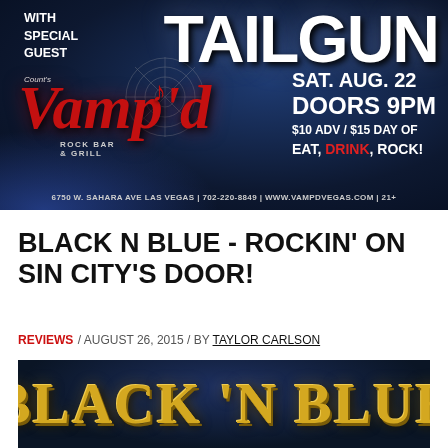[Figure (photo): Promotional flyer for Count's Vamp'd Rock Bar & Grill event featuring Tailgun as special guest. Saturday August 22, Doors 9PM, $10 ADV / $15 Day Of, EAT, DRINK, ROCK! Address: 6750 W. Sahara Ave Las Vegas | 702-220-8849 | www.vampdvegas.com | 21+]
BLACK N BLUE - ROCKIN' ON SIN CITY'S DOOR!
REVIEWS / AUGUST 26, 2015 / BY TAYLOR CARLSON
[Figure (photo): BLACK 'N BLUE band logo in gold metallic letters on dark blue background]